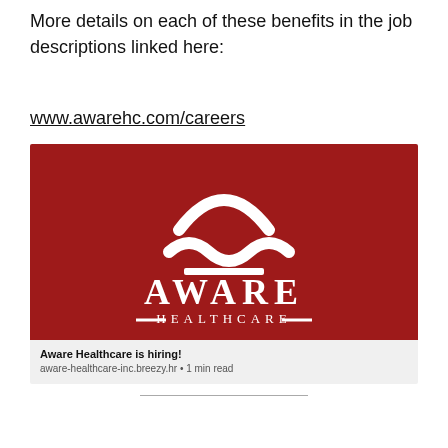More details on each of these benefits in the job descriptions linked here:
www.awarehc.com/careers
[Figure (logo): Aware Healthcare logo on dark red background with stylized arc and wave symbol above the text AWARE HEALTHCARE with decorative lines]
Aware Healthcare is hiring!
aware-healthcare-inc.breezy.hr • 1 min read